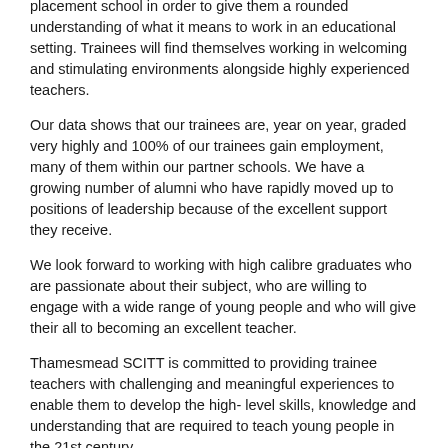placement school in order to give them a rounded understanding of what it means to work in an educational setting. Trainees will find themselves working in welcoming and stimulating environments alongside highly experienced teachers.
Our data shows that our trainees are, year on year, graded very highly and 100% of our trainees gain employment, many of them within our partner schools. We have a growing number of alumni who have rapidly moved up to positions of leadership because of the excellent support they receive.
We look forward to working with high calibre graduates who are passionate about their subject, who are willing to engage with a wide range of young people and who will give their all to becoming an excellent teacher.
Thamesmead SCITT is committed to providing trainee teachers with challenging and meaningful experiences to enable them to develop the high- level skills, knowledge and understanding that are required to teach young people in the 21st century.